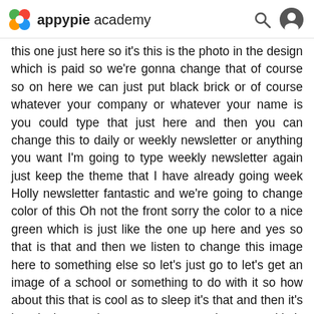appypie academy
this one just here so it's this is the photo in the design which is paid so we're gonna change that of course so on here we can just put black brick or of course whatever your company or whatever your name is you could type that just here and then you can change this to daily or weekly newsletter or anything you want I'm going to type weekly newsletter again just keep the theme that I have already going week Holly newsletter fantastic and we're going to change color of this Oh not the front sorry the color to a nice green which is just like the one up here and yes so that is that and then we listen to change this image here to something else so let's just go to let's get an image of a school or something to do with it so how about this that is cool as to sleep it's that and then it's just design another one so new page layouts and let's look for something else this is perfectly easy anyone can design an email header in seconds so that is absolutely fantastic of course you can have it saying whatever you want you can say your name your company's name and you can have it say Daily News that so